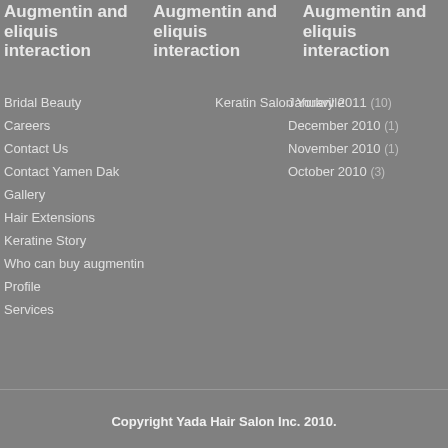Augmentin and eliquis interaction
Augmentin and eliquis interaction
Augmentin and eliquis interaction
Bridal Beauty
Careers
Contact Us
Contact Yamen Dak
Gallery
Hair Extensions
Keratine Story
Who can buy augmentin
Profile
Services
Keratin Salon Yorkville
January 2011 (10)
December 2010 (1)
November 2010 (1)
October 2010 (3)
Copyright Yada Hair Salon Inc. 2010.